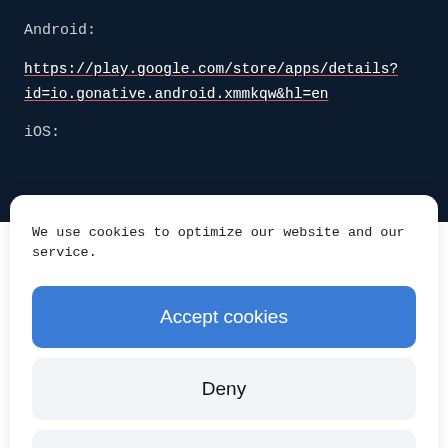Android:
https://play.google.com/store/apps/details?id=io.gonative.android.xmmkqw&hl=en
iOS:
We use cookies to optimize our website and our service.
Accept cookies
Deny
View preferences
Cookie Policy  Privacy Settings Page